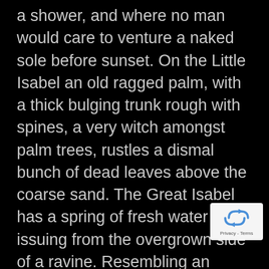a shower, and where no man would care to venture a naked sole before sunset. On the Little Isabel an old ragged palm, with a thick bulging trunk rough with spines, a very witch amongst palm trees, rustles a dismal bunch of dead leaves above the coarse sand. The Great Isabel has a spring of fresh water issuing from the overgrown side of a ravine. Resembling an emerald green wedge of land a mile long, and laid flat upon the sea, it bears two forest trees standing close together, with a wide spread of shade at the foot of their smooth trunks. A ravine extending the whole length of the island is full of bushes; and presenting a deep tangled
[Figure (other): reCAPTCHA widget showing a recycling arrows icon with 'Privacy - Terms' text below, on a light grey background]